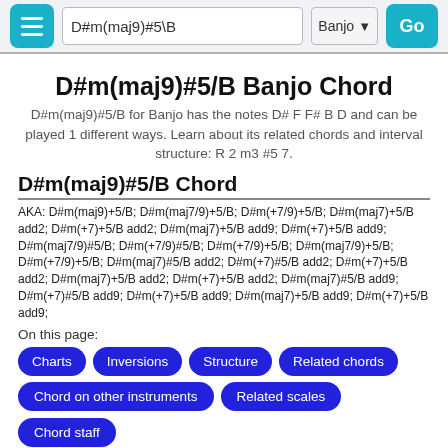D#m(maj9)#5\B | Banjo | Go
D#m(maj9)#5/B Banjo Chord
D#m(maj9)#5/B for Banjo has the notes D# F F# B D and can be played 1 different ways. Learn about its related chords and interval structure: R 2 m3 #5 7.
D#m(maj9)#5/B Chord
AKA: D#m(maj9)+5/B; D#m(maj7/9)+5/B; D#m(+7/9)+5/B; D#m(maj7)+5/B add2; D#m(+7)+5/B add2; D#m(maj7)+5/B add9; D#m(+7)+5/B add9; D#m(maj7/9)#5/B; D#m(+7/9)#5/B; D#m(+7/9)+5/B; D#m(maj7/9)+5/B; D#m(+7/9)+5/B; D#m(maj7)#5/B add2; D#m(+7)#5/B add2; D#m(+7)+5/B add2; D#m(maj7)+5/B add2; D#m(+7)+5/B add2; D#m(maj7)#5/B add9; D#m(+7)#5/B add9; D#m(+7)+5/B add9; D#m(maj7)+5/B add9; D#m(+7)+5/B add9;
On this page:
Charts
Inversions
Structure
Related chords
Chord on other instruments
Related scales
Chord staff